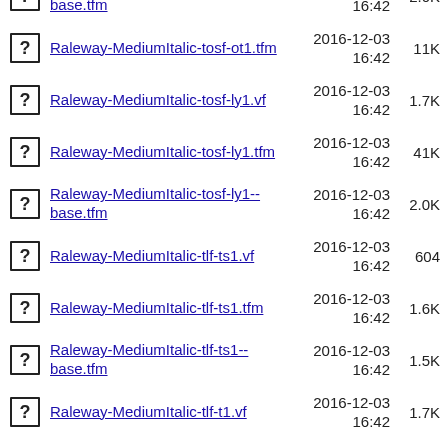Raleway-MediumItalic-tosf-sc-ly1--base.tfm  2016-12-03 16:42  2.0K
Raleway-MediumItalic-tosf-ot1.tfm  2016-12-03 16:42  11K
Raleway-MediumItalic-tosf-ly1.vf  2016-12-03 16:42  1.7K
Raleway-MediumItalic-tosf-ly1.tfm  2016-12-03 16:42  41K
Raleway-MediumItalic-tosf-ly1--base.tfm  2016-12-03 16:42  2.0K
Raleway-MediumItalic-tlf-ts1.vf  2016-12-03 16:42  604
Raleway-MediumItalic-tlf-ts1.tfm  2016-12-03 16:42  1.6K
Raleway-MediumItalic-tlf-ts1--base.tfm  2016-12-03 16:42  1.5K
Raleway-MediumItalic-tlf-t1.vf  2016-12-03 16:42  1.7K
Raleway-MediumItalic-tlf-t1.tfm  2016-12-03 16:42  59K
Raleway-MediumItalic-tlf-t1--base.tfm  2016-12-03 16:42  1.9K
Raleway-MediumItalic-tlf-sc-  2016-12-03  1.7K